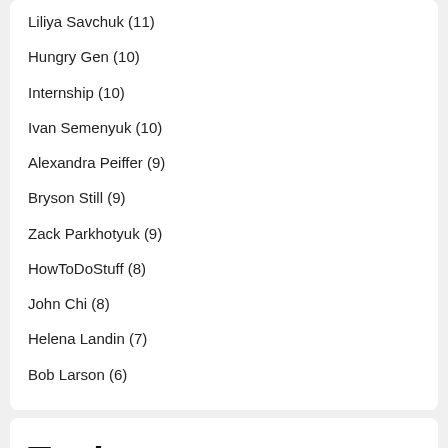Liliya Savchuk (11)
Hungry Gen (10)
Internship (10)
Ivan Semenyuk (10)
Alexandra Peiffer (9)
Bryson Still (9)
Zack Parkhotyuk (9)
HowToDoStuff (8)
John Chi (8)
Helena Landin (7)
Bob Larson (6)
Topics
#lonely #married 21 day fast 23 minutes in hell 2019 2022 abide acceptance acceptedbyfaith accountability achievements actions activate activated addiction advice advocate afraid alcohol alexander pagani